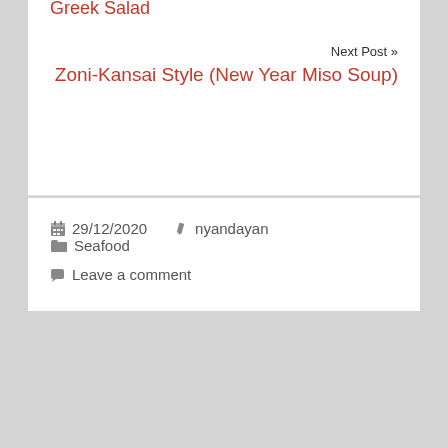Next Post »
Zoni-Kansai Style (New Year Miso Soup)
29/12/2020   nyandayan   Seafood
Leave a comment